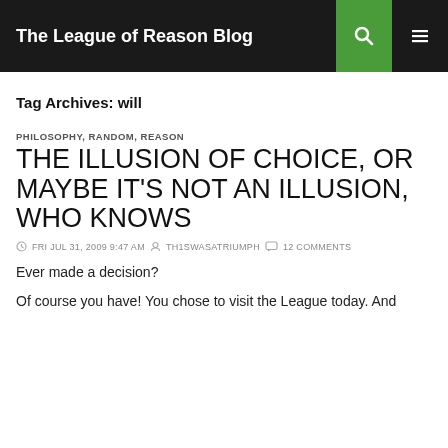The League of Reason Blog
Tag Archives: will
PHILOSOPHY, RANDOM, REASON
THE ILLUSION OF CHOICE, OR MAYBE IT'S NOT AN ILLUSION, WHO KNOWS
FRI JUL 31, 2009 9:47 AM  TH1SWASATRIUMPH  12 COMMENTS
Ever made a decision?
Of course you have! You chose to visit the League today. And